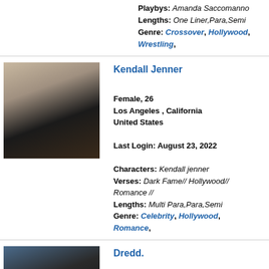Playbys: Amanda Saccomanno
Lengths: One Liner,Para,Semi
Genre: Crossover, Hollywood, Wrestling,
Kendall Jenner
Female, 26
Los Angeles , California
United States
Last Login: August 23, 2022
Characters: Kendall jenner
Verses: Dark Fame// Hollywood// Romance //
Lengths: Multi Para,Para,Semi
Genre: Celebrity, Hollywood, Romance,
[Figure (photo): Photo of Kendall Jenner in a dark outfit with floral background]
Dredd.
Male, 33
[Figure (photo): Photo of Dredd, a man with headphones smiling, wearing black shirt]